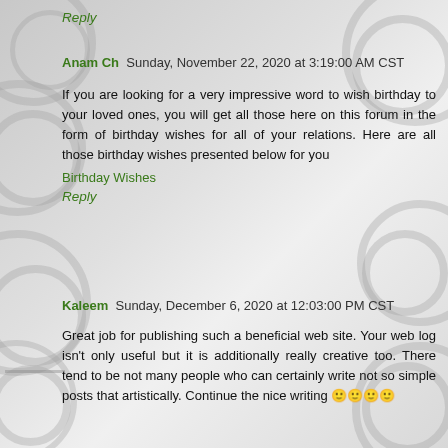Reply
Anam Ch  Sunday, November 22, 2020 at 3:19:00 AM CST
If you are looking for a very impressive word to wish birthday to your loved ones, you will get all those here on this forum in the form of birthday wishes for all of your relations. Here are all those birthday wishes presented below for you
Birthday Wishes
Reply
Kaleem  Sunday, December 6, 2020 at 12:03:00 PM CST
Great job for publishing such a beneficial web site. Your web log isn't only useful but it is additionally really creative too. There tend to be not many people who can certainly write not so simple posts that artistically. Continue the nice writing 🙂🙂🙂🙂